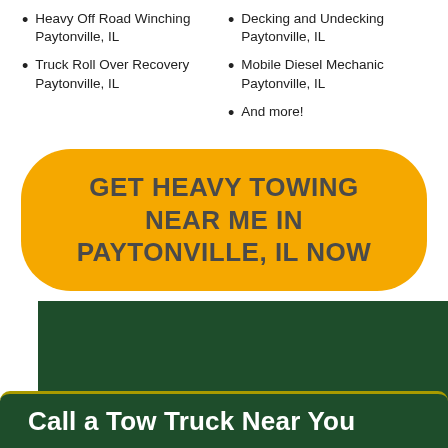Heavy Off Road Winching Paytonville, IL
Truck Roll Over Recovery Paytonville, IL
Decking and Undecking Paytonville, IL
Mobile Diesel Mechanic Paytonville, IL
And more!
GET HEAVY TOWING NEAR ME IN PAYTONVILLE, IL NOW
[Figure (map): Dark green map background area representing a local map for Paytonville, IL towing services]
Call a Tow Truck Near You